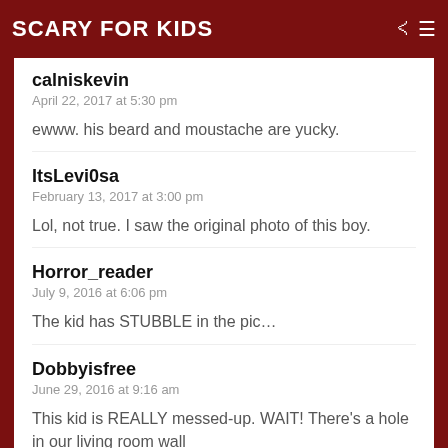Scary for Kids
calniskevin
April 22, 2017 at 5:30 pm

ewww. his beard and moustache are yucky.
ItsLevi0sa
February 13, 2017 at 3:00 pm

Lol, not true. I saw the original photo of this boy.
Horror_reader
July 9, 2016 at 6:06 pm

The kid has STUBBLE in the pic…
Dobbyisfree
June 29, 2016 at 9:16 am

This kid is REALLY messed-up. WAIT! There's a hole in our living room wall